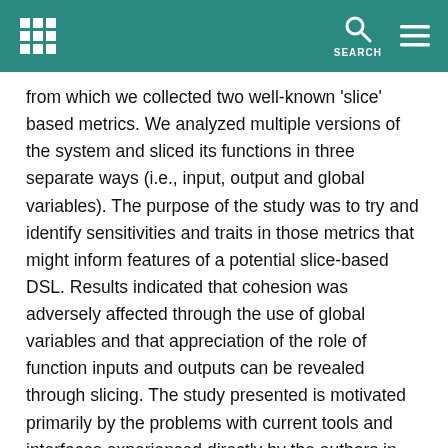SEARCH
from which we collected two well-known 'slice' based metrics. We analyzed multiple versions of the system and sliced its functions in three separate ways (i.e., input, output and global variables). The purpose of the study was to try and identify sensitivities and traits in those metrics that might inform features of a potential slice-based DSL. Results indicated that cohesion was adversely affected through the use of global variables and that appreciation of the role of function inputs and outputs can be revealed through slicing. The study presented is motivated primarily by the problems with current tools and interfaces experienced directly by the authors in extracting slicing data and the need to promote the benefits that analysis of
slice data and slicing in general can offer.